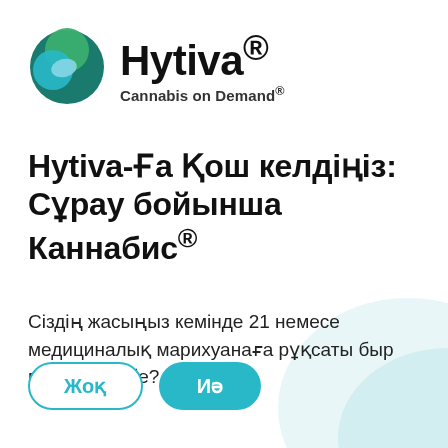[Figure (logo): Hytiva logo: circular icon with teal, dark teal, and light blue overlapping circles, beside the text 'Hytiva®' in bold black and tagline 'Cannabis on Demand®']
Hytiva-Ға Қош келдіңіз: Сұрау бойынша Каннабис®
Сіздің жасыңыз кемінде 21 немесе медициналық марихуанаға рұқсаты быр пациентсіз бе?